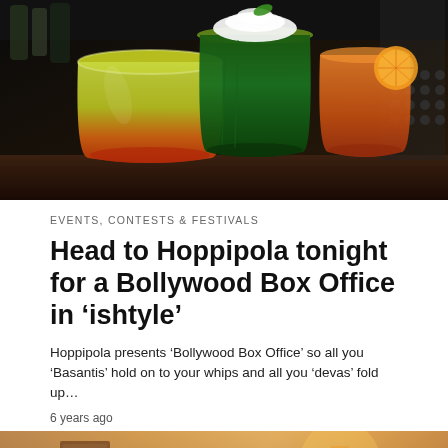[Figure (photo): Colorful cocktail drinks in glasses - yellow-orange gradient drink on left, dark green drink in center, orange drink on right, on a dark background]
EVENTS, CONTESTS & FESTIVALS
Head to Hoppipola tonight for a Bollywood Box Office in ‘ishtyle’
Hoppipola presents ‘Bollywood Box Office’ so all you ‘Basantis’ hold on to your whips and all you ‘devas’ fold up…
6 years ago
[Figure (photo): Warm-toned interior photo of what appears to be a restaurant or cafe with tables, lamps, and artwork on walls]